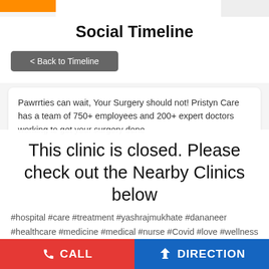Social Timeline
< Back to Timeline
Pawrrties can wait, Your Surgery should not! Pristyn Care has a team of 750+ employees and 200+ expert doctors working to get your surgery done
This clinic is closed. Please check out the Nearby Clinics below
#hospital #care #treatment #yashrajmukhate #dananeer #healthcare #medicine #medical #nurse #Covid #love #wellness #fitness #HappyPatients #happy #postivevibes #motivation #life
CALL
DIRECTION